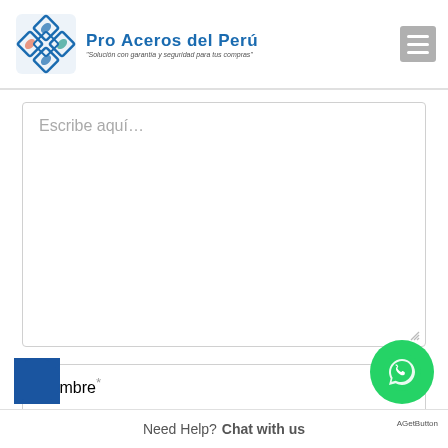Pro Aceros del Perú — Solución con garantía y seguridad para tus compras
Deja un comentario
Tu dirección de correo electrónica no será publicada. Los campos obligatorios están marcados con *
Escribe aquí...
Nombre*
Need Help? Chat with us